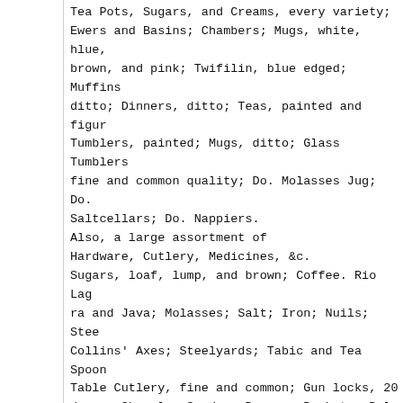Tea Pots, Sugars, and Creams, every variety; Ewers and Basins; Chambers; Mugs, white, hlue, brown, and pink; Twifilin, blue edged; Muffins ditto; Dinners, ditto; Teas, painted and figur Tumblers, painted; Mugs, ditto; Glass Tumblers fine and common quality; Do. Molasses Jug; Do. Saltcellars; Do. Nappiers.
Also, a large assortment of Hardware, Cutlery, Medicines, &c.
Sugars, loaf, lump, and brown; Coffee. Rio Lag ra and Java; Molasses; Salt; Iron; Nuils; Stee Collins' Axes; Steelyards; Tabic and Tea Spoon Table Cutlery, fine and common; Gun locks, 20 dozen; Shovels; Spades; Brooms; Bucket.; Bel lows; Anvils; Vices; Waggon Boxes; Trace and Halter Chains; 8 by 10, and 10 12 Window Glass Putty; White Lead; Scotch and Maccohoy Snuff", in bottles and bladders; Tow and Jute Bale Rop Tow and Hemp Cotton Bagging, 40 to 44 inches; Baling Twine; Sole Leather; Powder, Shot, and Lead; Hollow-Ware; 125 roams large and small Wrapping Paper; Table Salt,.in boxes; Starch, per, Spice and Ginger; Principe, Cigars (Steam brand;) Bed Cords; Cotton and Wool Card; Cot foo Mills; Spirits Turpentine; Opodoldoc; Ratc